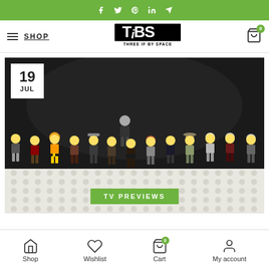Social media icons: Facebook, Twitter, Pinterest, LinkedIn, Telegram
[Figure (screenshot): TiBS (Three If By Space) website header with logo, shop link, hamburger menu, and cart icon]
[Figure (photo): LEGO minifigures arranged in a row on a white LEGO baseplate against a dark background, with a date badge showing 19 JUL and a green TV PREVIEWS label]
TV PREVIEWS
Shop | Wishlist | Cart 0 | My account